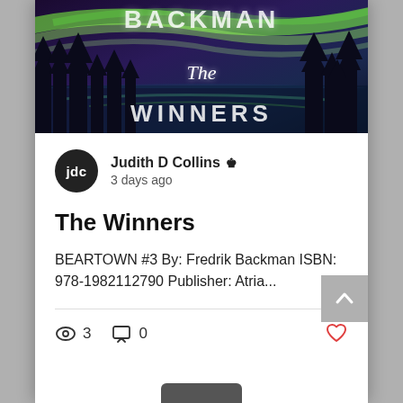[Figure (illustration): Book cover for 'The Winners' by Fredrik Backman showing northern lights (aurora borealis) in green over a dark forest silhouette with a lake reflection. Text 'BACKMAN' at top, 'The' in cursive in middle, 'WINNERS' at bottom, all in white.]
jdc
Judith D Collins 👑 3 days ago
The Winners
BEARTOWN #3 By: Fredrik Backman ISBN: 978-1982112790 Publisher: Atria...
3  0  ♡